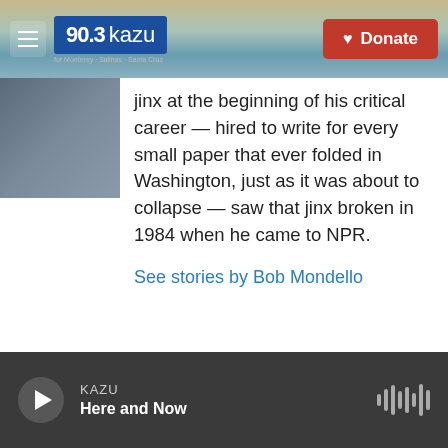90.3 KAZU | Donate
[Figure (photo): Portrait photo of a person wearing a blue jacket, partially visible]
jinx at the beginning of his critical career — hired to write for every small paper that ever folded in Washington, just as it was about to collapse — saw that jinx broken in 1984 when he came to NPR.
See stories by Bob Mondello
KAZU | Here and Now